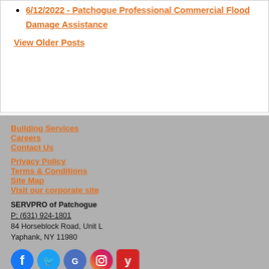6/12/2022 - Patchogue Professional Commercial Flood Damage Assistance
View Older Posts
Building Services
Careers
Contact Us
Privacy Policy
Terms & Conditions
Site Map
Visit our corporate site
SERVPRO of Patchogue
P: (631) 924-1801
84 Horseblock Road, Unit L
Yaphank, NY 11980
[Figure (logo): Row of five social media icons: Facebook (blue circle), Twitter (blue circle), Google (blue/white circle), Instagram (gradient circle), Yelp (red square rounded)]
© Servpro Industries, LLC. – All services in the U.S. performed by independently owned and operated franchises of Servpro Industries, LLC.
© Servpro Industries (Canada) ULC – All services in Canada performed by independently owned and operated franchises of Servpro Industries (Canada) ULC.